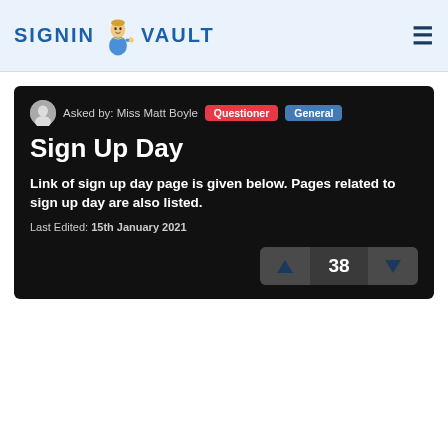SIGNIN VAULT
Asked by: Miss Matt Boyle  Questioner  General
Sign Up Day
Link of sign up day page is given below. Pages related to sign up day are also listed.
Last Edited: 15th January 2021
38